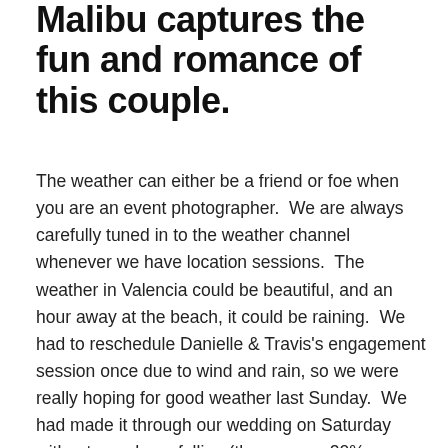Malibu captures the fun and romance of this couple.
The weather can either be a friend or foe when you are an event photographer.  We are always carefully tuned in to the weather channel whenever we have location sessions.  The weather in Valencia could be beautiful, and an hour away at the beach, it could be raining.  We had to reschedule Danielle & Travis's engagement session once due to wind and rain, so we were really hoping for good weather last Sunday.  We had made it through our wedding on Saturday without any drops falling (there was a 20% chance), so we felt confident to try it again with the same prediction on Sunday.
We left Valencia with rain imminent, but as we drove further south and through the San Fernando Valley and